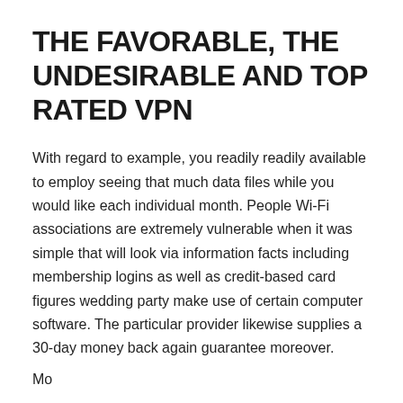THE FAVORABLE, THE UNDESIRABLE AND TOP RATED VPN
With regard to example, you readily readily available to employ seeing that much data files while you would like each individual month. People Wi-Fi associations are extremely vulnerable when it was simple that will look via information facts including membership logins as well as credit-based card figures wedding party make use of certain computer software. The particular provider likewise supplies a 30-day money back again guarantee moreover.
Mo...